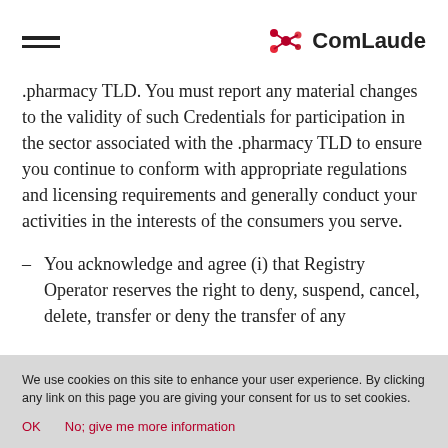ComLaude
.pharmacy TLD. You must report any material changes to the validity of such Credentials for participation in the sector associated with the .pharmacy TLD to ensure you continue to conform with appropriate regulations and licensing requirements and generally conduct your activities in the interests of the consumers you serve.
You acknowledge and agree (i) that Registry Operator reserves the right to deny, suspend, cancel, delete, transfer or deny the transfer of any
We use cookies on this site to enhance your user experience. By clicking any link on this page you are giving your consent for us to set cookies.
OK    No; give me more information